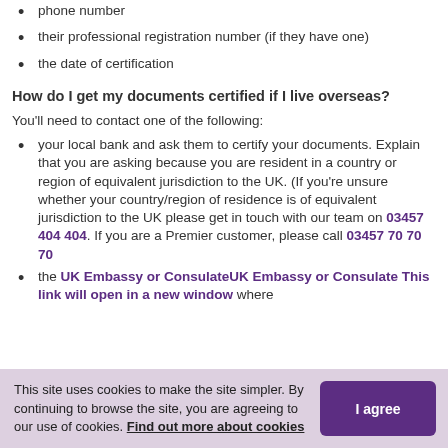phone number
their professional registration number (if they have one)
the date of certification
How do I get my documents certified if I live overseas?
You'll need to contact one of the following:
your local bank and ask them to certify your documents. Explain that you are asking because you are resident in a country or region of equivalent jurisdiction to the UK. (If you're unsure whether your country/region of residence is of equivalent jurisdiction to the UK please get in touch with our team on 03457 404 404. If you are a Premier customer, please call 03457 70 70 70
the UK Embassy or ConsulateUK Embassy or Consulate This link will open in a new window where
This site uses cookies to make the site simpler. By continuing to browse the site, you are agreeing to our use of cookies. Find out more about cookies